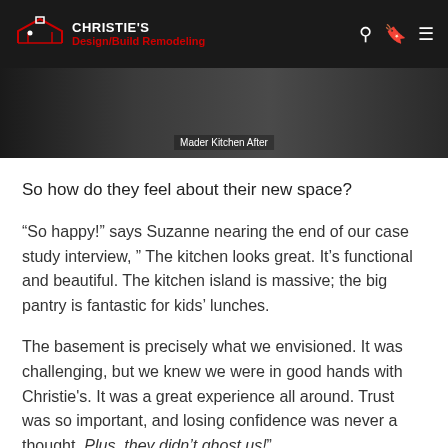CHRISTIE'S Design/Build Remodeling
[Figure (photo): Dark photo strip showing a kitchen remodel labeled 'Mader Kitchen After']
Mader Kitchen After
So how do they feel about their new space?
“So happy!” says Suzanne nearing the end of our case study interview, “ The kitchen looks great. It’s functional and beautiful. The kitchen island is massive; the big pantry is fantastic for kids’ lunches.
The basement is precisely what we envisioned. It was challenging, but we knew we were in good hands with Christie's. It was a great experience all around. Trust was so important, and losing confidence was never a thought. Plus, they didn’t ghost us!”